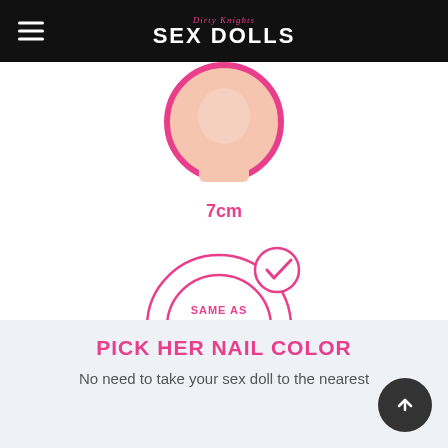Dirty Knights SEX DOLLS
[Figure (photo): Circular cropped photo of a doll neck/face with pink border]
7cm
[Figure (infographic): Two concentric pink circles with text 'SAME AS WEBSITE IMAGE' and a checkmark circle in top right, indicating no change option is selected]
No Change
PICK HER NAIL COLOR
No need to take your sex doll to the nearest